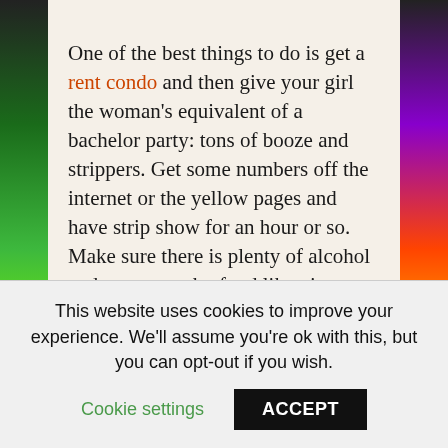One of the best things to do is get a rent condo and then give your girl the woman's equivalent of a bachelor party: tons of booze and strippers. Get some numbers off the internet or the yellow pages and have strip show for an hour or so. Make sure there is plenty of alcohol and some starchy food like pizza to go around, or else the drinking might stop short in a couple of hours. Hand everybody a round of drinks before the stripper arrives and get people in the mood by playing games like spin the bottle or dancing on a folded newspaper. Play some hot and heavy music and make sure there's always chips and snacks to gorge yourself on while
This website uses cookies to improve your experience. We'll assume you're ok with this, but you can opt-out if you wish.
Cookie settings   ACCEPT